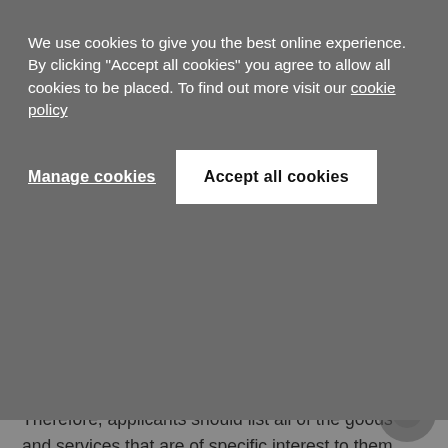We use cookies to give you the best online experience. By clicking "Accept all cookies" you agree to allow all cookies to be placed. To find out more visit our cookie policy
Manage cookies
Accept all cookies
Therefore, applicants should list all of the goods and services that are of specific interest to them. For example, if the goods are to be covered in Class 25, they must be specifically covered under the class heading to include clothing, headgear and footwear. Applicants should thus specify every item that would fall within these three categories as classified under the sub-class (ie, 2501 onwards) as this provides for wider coverage.